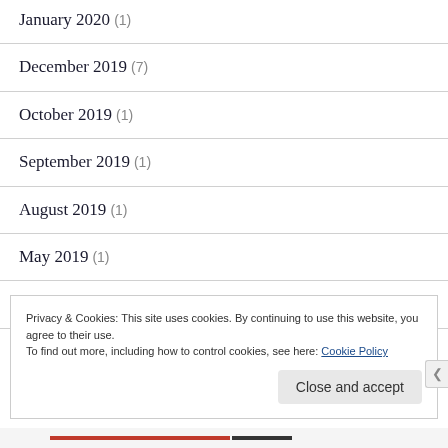January 2020 (1)
December 2019 (7)
October 2019 (1)
September 2019 (1)
August 2019 (1)
May 2019 (1)
April 2019 (1)
Privacy & Cookies: This site uses cookies. By continuing to use this website, you agree to their use. To find out more, including how to control cookies, see here: Cookie Policy
Close and accept